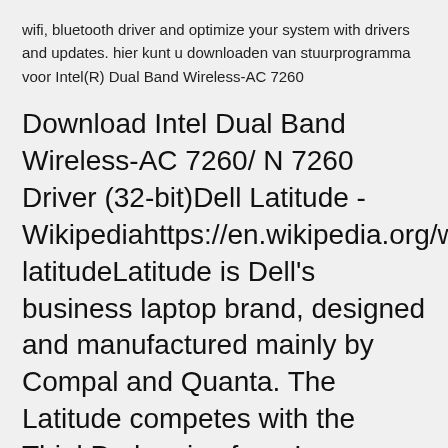wifi, bluetooth driver and optimize your system with drivers and updates. hier kunt u downloaden van stuurprogramma voor Intel(R) Dual Band Wireless-AC 7260
Download Intel Dual Band Wireless-AC 7260/ N 7260 Driver (32-bit)Dell Latitude - Wikipediahttps://en.wikipedia.org/wiki/dell_latitudeLatitude is Dell's business laptop brand, designed and manufactured mainly by Compal and Quanta. The Latitude competes with the ThinkPad series from Lenovo (formerly IBM). the